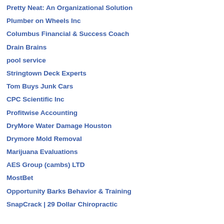Pretty Neat: An Organizational Solution
Plumber on Wheels Inc
Columbus Financial & Success Coach
Drain Brains
pool service
Stringtown Deck Experts
Tom Buys Junk Cars
CPC Scientific Inc
Profitwise Accounting
DryMore Water Damage Houston
Drymore Mold Removal
Marijuana Evaluations
AES Group (cambs) LTD
MostBet
Opportunity Barks Behavior & Training
SnapCrack | 29 Dollar Chiropractic